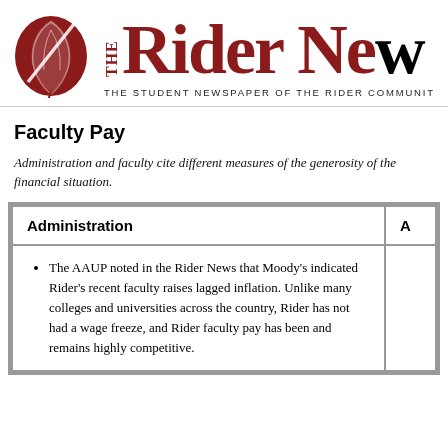THE Rider News — THE STUDENT NEWSPAPER OF THE RIDER COMMUNITY
Faculty Pay
Administration and faculty cite different measures of the generosity of the financial situation.
| Administration | A... |
| --- | --- |
| The AAUP noted in the Rider News that Moody's indicated Rider's recent faculty raises lagged inflation. Unlike many colleges and universities across the country, Rider has not had a wage freeze, and Rider faculty pay has been and remains highly competitive. |  |